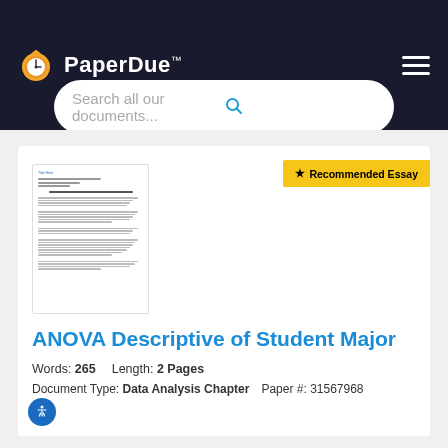PaperDue™
Search all our documents...
[Figure (screenshot): Thumbnail preview of a document page showing formatted text with numbered list items]
★ Recommended Essay
ANOVA Descriptive of Student Major
Words: 265   Length: 2 Pages
Document Type: Data Analysis Chapter   Paper #: 31567968